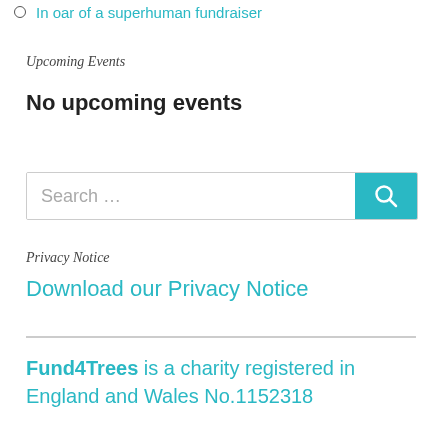In oar of a superhuman fundraiser
Upcoming Events
No upcoming events
[Figure (other): Search bar with teal search button and magnifying glass icon]
Privacy Notice
Download our Privacy Notice
Fund4Trees is a charity registered in England and Wales No.1152318